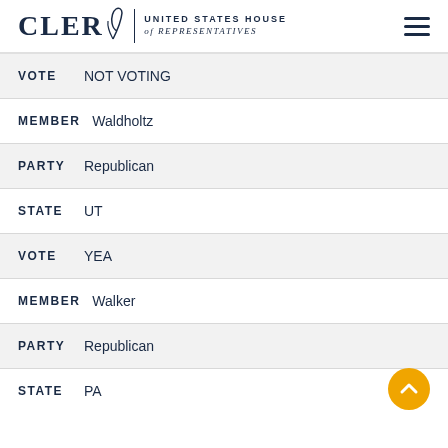CLERK United States House of Representatives
VOTE  NOT VOTING
MEMBER  Waldholtz
PARTY  Republican
STATE  UT
VOTE  YEA
MEMBER  Walker
PARTY  Republican
STATE  PA